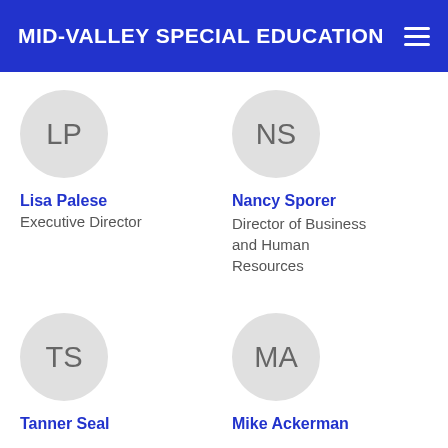MID-VALLEY SPECIAL EDUCATION
[Figure (other): Avatar circle with initials LP for Lisa Palese]
Lisa Palese
Executive Director
[Figure (other): Avatar circle with initials NS for Nancy Sporer]
Nancy Sporer
Director of Business and Human Resources
[Figure (other): Avatar circle with initials TS for Tanner Seal]
Tanner Seal
[Figure (other): Avatar circle with initials MA for Mike Ackerman]
Mike Ackerman